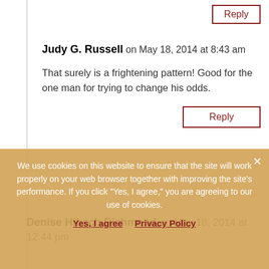Reply
Judy G. Russell on May 18, 2014 at 8:43 am
That surely is a frightening pattern! Good for the one man for trying to change his odds.
Reply
Denise Hibsch Richmond on May 18, 2014 at 12:44 pm
We use cookies on this website to ensure that the site will work properly on your web browser together with improving the site's performance. If you click "Yes, I agree," you are agreeing to our use of cookies.
Yes, I agree   Privacy Policy